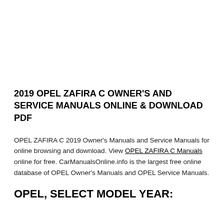2019 OPEL ZAFIRA C OWNER'S AND SERVICE MANUALS ONLINE & DOWNLOAD PDF
OPEL ZAFIRA C 2019 Owner's Manuals and Service Manuals for online browsing and download. View OPEL ZAFIRA C Manuals online for free. CarManualsOnline.info is the largest free online database of OPEL Owner's Manuals and OPEL Service Manuals.
OPEL, SELECT MODEL YEAR: